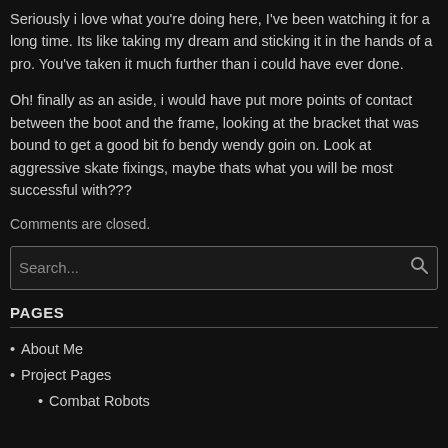Seriously i love what you're doing here, I've been watching it for a long time. Its like taking my dream and sticking it in the hands of a pro. You've taken it much further than i could have ever done.
Oh! finally as an aside, i would have put more points of contact between the boot and the frame, looking at the bracket that was bound to get a good bit fo bendy wendy goin on. Look at aggressive skate fixings, maybe thats what you will be most successful with???
Comments are closed.
[Figure (other): Search input box with search icon]
PAGES
About Me
Project Pages
Combat Robots